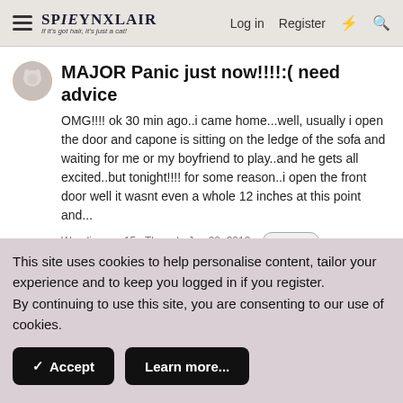SPYNXLAIR  If it's got hair, it's just a cat!  Log in  Register
MAJOR Panic just now!!!!:( need advice
OMG!!!! ok 30 min ago..i came home...well, usually i open the door and capone is sitting on the ledge of the sofa and waiting for me or my boyfriend to play..and he gets all excited..but tonight!!!! for some reason..i open the front door well it wasnt even a whole 12 inches at this point and...
Weedieworm15 · Thread · Jan 20, 2012 · escape  outdoors  sphynx running outside  sphynxcat  ·
This site uses cookies to help personalise content, tailor your experience and to keep you logged in if you register.
By continuing to use this site, you are consenting to our use of cookies.